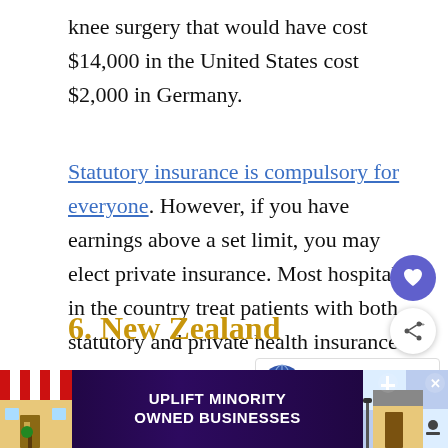knee surgery that would have cost $14,000 in the United States cost $2,000 in Germany.
Statutory insurance is compulsory for everyone. However, if you have earnings above a set limit, you may elect private insurance. Most hospitals in the country treat patients with both statutory and private health insurance.
6. New Zealand
Healthcare in New Zealand is publicly financed and provided. Funding comes from general taxation.
[Figure (screenshot): Heart/favorite button (purple circle with heart icon) and share button (white circle with share icon) on the right side of the page]
[Figure (infographic): What's Next box showing globe icon with text 'WHAT'S NEXT → Currency | Mappr']
[Figure (screenshot): Advertisement banner at bottom: 'UPLIFT MINORITY OWNED BUSINESSES' with colorful storefront graphics on both sides]